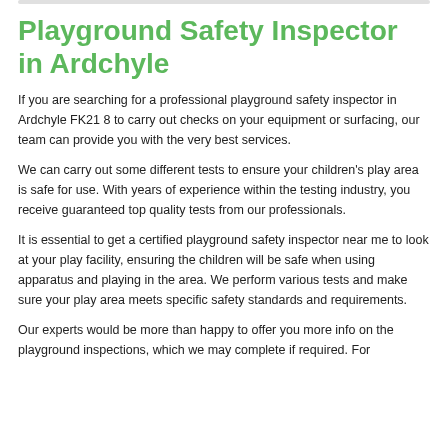Playground Safety Inspector in Ardchyle
If you are searching for a professional playground safety inspector in Ardchyle FK21 8 to carry out checks on your equipment or surfacing, our team can provide you with the very best services.
We can carry out some different tests to ensure your children's play area is safe for use. With years of experience within the testing industry, you receive guaranteed top quality tests from our professionals.
It is essential to get a certified playground safety inspector near me to look at your play facility, ensuring the children will be safe when using apparatus and playing in the area. We perform various tests and make sure your play area meets specific safety standards and requirements.
Our experts would be more than happy to offer you more info on the playground inspections, which we may complete if required. For